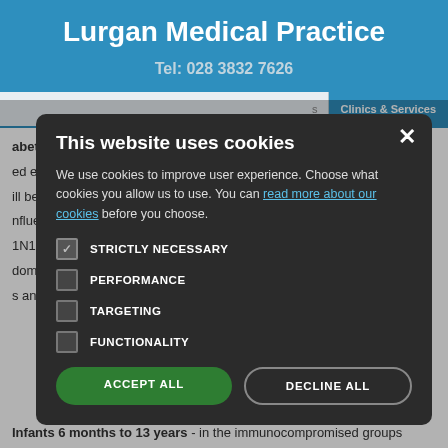Lurgan Medical Practice
Tel: 028 3832 7626
Clinics & Services
This website uses cookies

We use cookies to improve user experience. Choose what cookies you allow us to use. You can read more about our cookies before you choose.

STRICTLY NECESSARY (checked)
PERFORMANCE
TARGETING
FUNCTIONALITY

ACCEPT ALL | DECLINE ALL
abetic etc) should be offered even if they have already... will be offered influenza va... influenza are included in ...1N1 Vaccine. This is be...dominant circulating flu s... s and
Infants 6 months to 13 years - in the immunocompromised groups